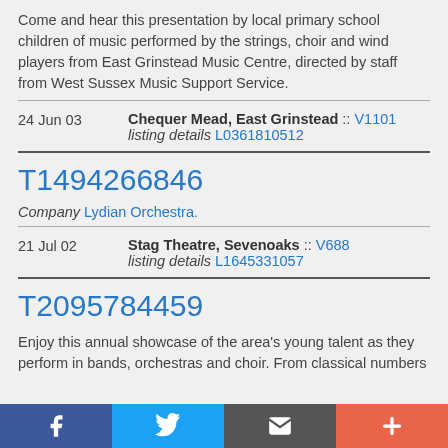Come and hear this presentation by local primary school children of music performed by the strings, choir and wind players from East Grinstead Music Centre, directed by staff from West Sussex Music Support Service.
24 Jun 03   Chequer Mead, East Grinstead :: V1101   listing details L0361810512
T1494266846
Company Lydian Orchestra.
21 Jul 02   Stag Theatre, Sevenoaks :: V688   listing details L1645331057
T2095784459
Enjoy this annual showcase of the area's young talent as they perform in bands, orchestras and choir. From classical numbers